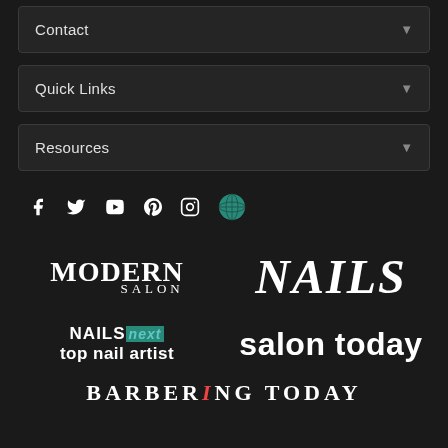Contact
Quick Links
Resources
[Figure (logo): Social media icons: Facebook, Twitter, YouTube, Pinterest, Instagram, Globe]
[Figure (logo): Modern Salon magazine logo]
[Figure (logo): NAILS magazine logo]
[Figure (logo): NAILS next top nail artist logo]
[Figure (logo): salon today logo]
[Figure (logo): BARBERING TODAY logo (partial, cropped at bottom)]